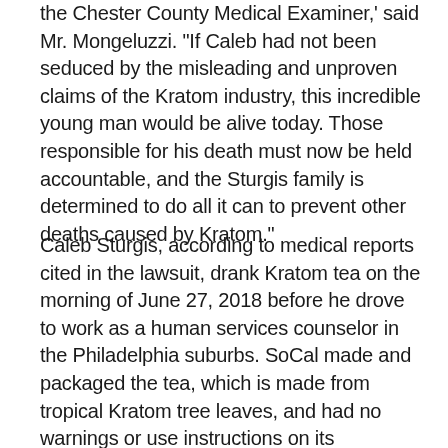the Chester County Medical Examiner,' said Mr. Mongeluzzi. 'If Caleb had not been seduced by the misleading and unproven claims of the Kratom industry, this incredible young man would be alive today. Those responsible for his death must now be held accountable, and the Sturgis family is determined to do all it can to prevent other deaths caused by Kratom.'
Caleb Sturgis, according to medical reports cited in the lawsuit, drank Kratom tea on the morning of June 27, 2018 before he drove to work as a human services counselor in the Philadelphia suburbs. SoCal made and packaged the tea, which is made from tropical Kratom tree leaves, and had no warnings or use instructions on its